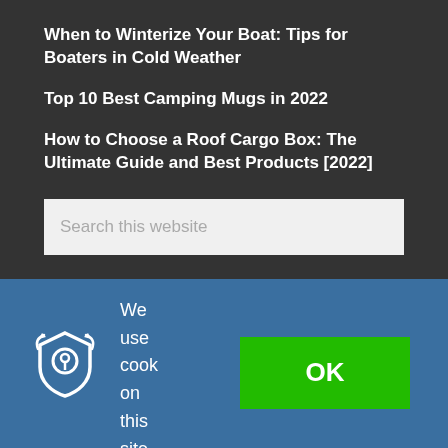When to Winterize Your Boat: Tips for Boaters in Cold Weather
Top 10 Best Camping Mugs in 2022
How to Choose a Roof Cargo Box: The Ultimate Guide and Best Products [2022]
Search this website
[Figure (other): Cookie consent banner with privacy/lock icon, text 'We use cook on this site', and a green OK button]
We use cook on this site
OK